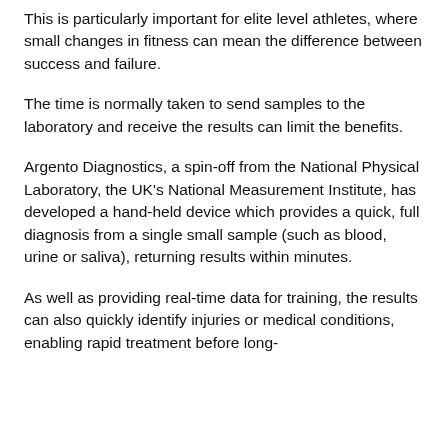This is particularly important for elite level athletes, where small changes in fitness can mean the difference between success and failure.
The time is normally taken to send samples to the laboratory and receive the results can limit the benefits.
Argento Diagnostics, a spin-off from the National Physical Laboratory, the UK's National Measurement Institute, has developed a hand-held device which provides a quick, full diagnosis from a single small sample (such as blood, urine or saliva), returning results within minutes.
As well as providing real-time data for training, the results can also quickly identify injuries or medical conditions, enabling rapid treatment before long-